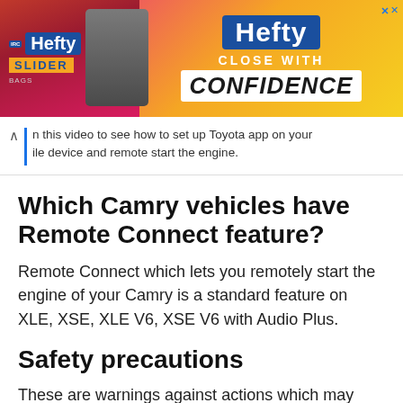[Figure (other): Hefty Slider bags advertisement banner with pink/yellow gradient background, Hefty logo in blue, 'CLOSE WITH CONFIDENCE' tagline]
...n this video to see how to set up Toyota app on your ...ile device and remote start the engine.
Which Camry vehicles have Remote Connect feature?
Remote Connect which lets you remotely start the engine of your Camry is a standard feature on XLE, XSE, XLE V6, XSE V6 with Audio Plus.
Safety precautions
These are warnings against actions which may cause injury to people/vehicle if the